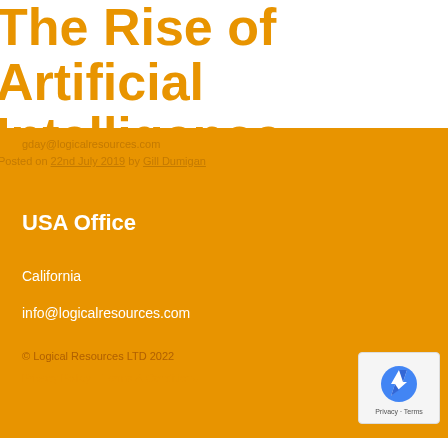The Rise of Artificial Intelligence
gday@logicalresources.com
Posted on 22nd July 2019 by Gill Dumigan
USA Office
California
info@logicalresources.com
© Logical Resources LTD 2022
Privacy Policy    Terms & Conditions